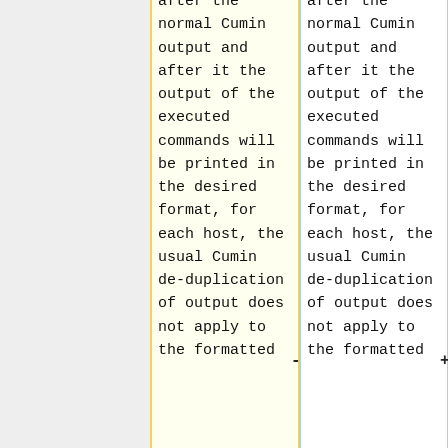after the normal Cumin output and after it the output of the executed commands will be printed in the desired format, for each host, the usual Cumin de-duplication of output does not apply to the formatted
after the normal Cumin output and after it the output of the executed commands will be printed in the desired format, for each host, the usual Cumin de-duplication of output does not apply to the formatted